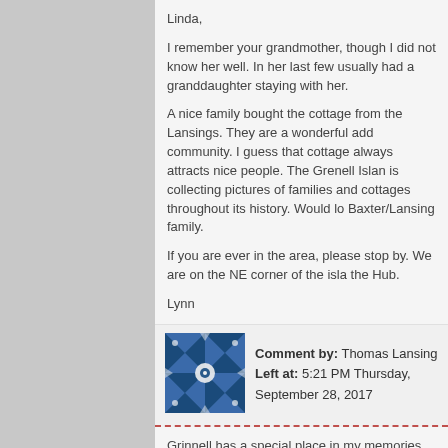Linda,

I remember your grandmother, though I did not know her well. In her last few usually had a granddaughter staying with her.

A nice family bought the cottage from the Lansings. They are a wonderful add community. I guess that cottage always attracts nice people. The Grenell Islan is collecting pictures of families and cottages throughout its history. Would lo Baxter/Lansing family.

If you are ever in the area, please stop by. We are on the NE corner of the isla the Hub.

Lynn
Comment by: Thomas Lansing
Left at: 5:21 PM Thursday, September 28, 2017
Grinnell has a special place in my memories. In the 1950's our visits to the Ba ferry from Fishers Landing on Chalks "Thats Her" if I remember correctly. It evening trip back to civilization. I still dream of the sound of no not auto's, tra occassional outboard motor on its way to some other wonderful island in the r least, a special place. Special people. Thanks for you tales. And you could get for sure.